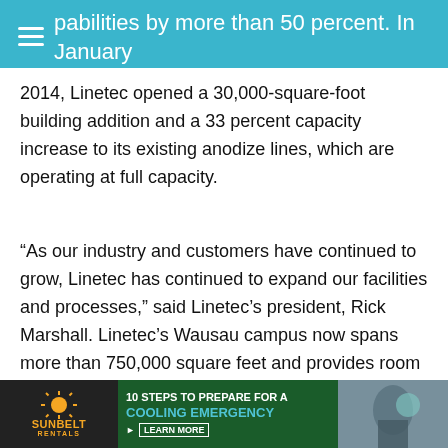pabilities by more than 50 percent. In January
2014, Linetec opened a 30,000-square-foot building addition and a 33 percent capacity increase to its existing anodize lines, which are operating at full capacity.
“As our industry and customers have continued to grow, Linetec has continued to expand our facilities and processes,” said Linetec’s president, Rick Marshall. Linetec’s Wausau campus now spans more than 750,000 square feet and provides room to further enhance production flow throughout the
[Figure (infographic): Sunbelt Rentals advertisement banner: logo on dark background, text '10 STEPS TO PREPARE FOR A COOLING EMERGENCY' with 'LEARN MORE' button, photo of worker in background]